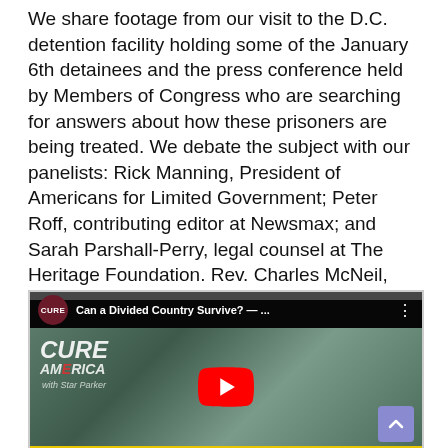We share footage from our visit to the D.C. detention facility holding some of the January 6th detainees and the press conference held by Members of Congress who are searching for answers about how these prisoners are being treated. We debate the subject with our panelists: Rick Manning, President of Americans for Limited Government; Peter Roff, contributing editor at Newsmax; and Sarah Parshall-Perry, legal counsel at The Heritage Foundation. Rev. Charles McNeil, Pastor of Unity Baptist Church in Washington, D.C and a member of CURE's Clergy Network gives some comforting words on how to bridge the divides.
[Figure (screenshot): YouTube video thumbnail showing 'Can a Divided Country Survive? — ...' with CURE logo, CURE America with Star Parker branding, a woman on screen, and a red YouTube play button in the center.]